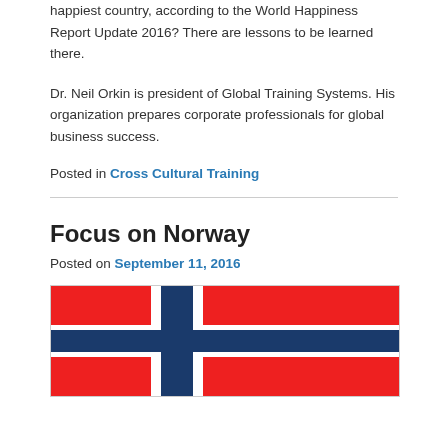happiest country, according to the World Happiness Report Update 2016? There are lessons to be learned there.
Dr. Neil Orkin is president of Global Training Systems. His organization prepares corporate professionals for global business success.
Posted in Cross Cultural Training
Focus on Norway
Posted on September 11, 2016
[Figure (illustration): Norwegian flag showing red background with blue and white Nordic cross pattern]